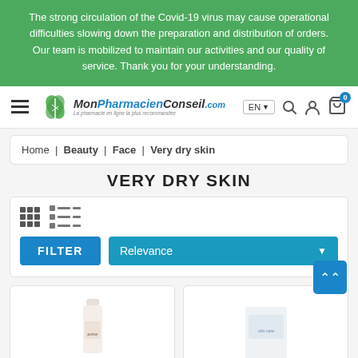The strong circulation of the Covid-19 virus may cause operational difficulties slowing down the preparation and distribution of orders. Our team is mobilized to maintain our activities and our quality of service. Thank you for your understanding.
[Figure (logo): MonPharmacienConseil.com logo with green leaf icon]
Home | Beauty | Face | Very dry skin
VERY DRY SKIN
FILTER
Relevance
[Figure (photo): Two skincare product images partially visible at the bottom - Avene product on left and another product on right]